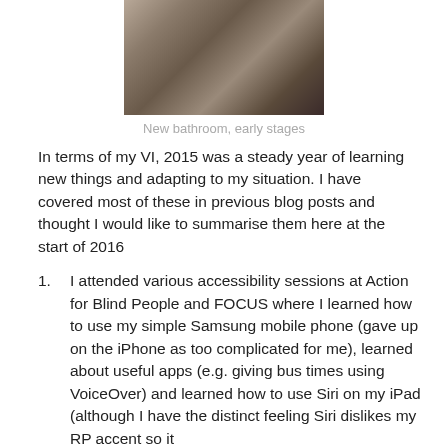[Figure (photo): Interior photo of a bathroom in early construction/renovation stages, showing exposed framing and floor materials]
New bathroom, early stages
In terms of my VI, 2015 was a steady year of learning new things and adapting to my situation. I have covered most of these in previous blog posts and thought I would like to summarise them here at the start of 2016
I attended various accessibility sessions at Action for Blind People and FOCUS where I learned how to use my simple Samsung mobile phone (gave up on the iPhone as too complicated for me), learned about useful apps (e.g. giving bus times using VoiceOver) and learned how to use Siri on my iPad (although I have the distinct feeling Siri dislikes my RP accent so it